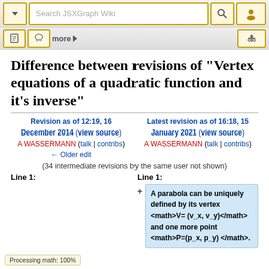Search JSXGraph Wiki
Difference between revisions of "Vertex equations of a quadratic function and it's inverse"
Revision as of 12:19, 16 December 2014 (view source)
A WASSERMANN (talk | contribs)
← Older edit
Latest revision as of 16:18, 15 January 2021 (view source)
A WASSERMANN (talk | contribs)
(34 intermediate revisions by the same user not shown)
Line 1:
Line 1:
+ A parabola can be uniquely defined by its vertex <math>V=(v_x, v_y)</math> and one more point <math>P=(p_x, p_y)</math>.
Processing math: 100%